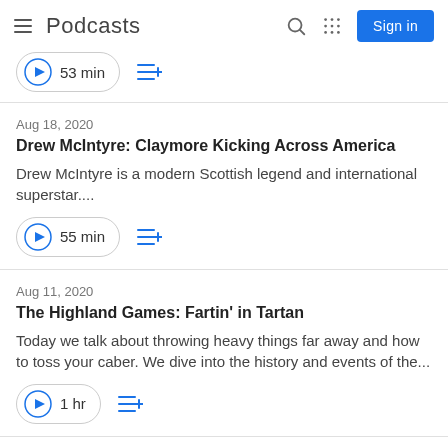Podcasts
53 min
Aug 18, 2020
Drew McIntyre: Claymore Kicking Across America
Drew McIntyre is a modern Scottish legend and international superstar....
55 min
Aug 11, 2020
The Highland Games: Fartin' in Tartan
Today we talk about throwing heavy things far away and how to toss your caber. We dive into the history and events of the...
1 hr
Aug 4, 2020